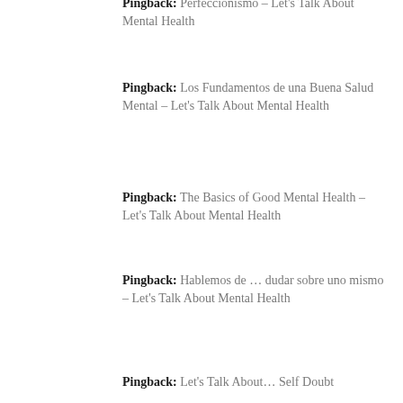Pingback: Perfeccionismo – Let's Talk About Mental Health
Pingback: Los Fundamentos de una Buena Salud Mental – Let's Talk About Mental Health
Pingback: The Basics of Good Mental Health – Let's Talk About Mental Health
Pingback: Hablemos de … dudar sobre uno mismo – Let's Talk About Mental Health
Pingback: Let's Talk About… Self Doubt